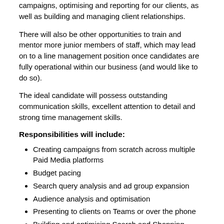campaigns, optimising and reporting for our clients, as well as building and managing client relationships.
There will also be other opportunities to train and mentor more junior members of staff, which may lead on to a line management position once candidates are fully operational within our business (and would like to do so).
The ideal candidate will possess outstanding communication skills, excellent attention to detail and strong time management skills.
Responsibilities will include:
Creating campaigns from scratch across multiple Paid Media platforms
Budget pacing
Search query analysis and ad group expansion
Audience analysis and optimisation
Presenting to clients on Teams or over the phone
Building and optimising Search and Shopping campaigns
Keyword reviews
Reporting (weekly/monthly/quarterly)